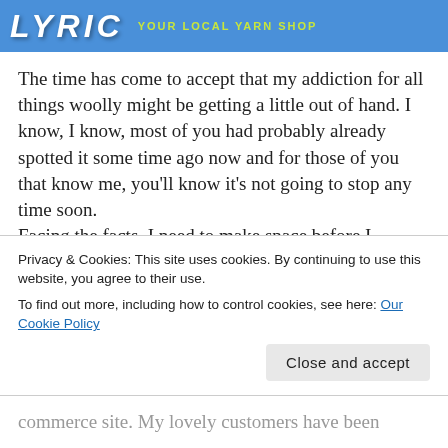[Figure (logo): Blue banner with white stylized text logo and yellow-green tagline 'YOUR LOCAL YARN SHOP']
The time has come to accept that my addiction for all things woolly might be getting a little out of hand. I know, I know, most of you had probably already spotted it some time ago now and for those of you that know me, you'll know it's not going to stop any time soon.
Facing the facts, I need to make space before I disappear into one of the stock rooms and never
Privacy & Cookies: This site uses cookies. By continuing to use this website, you agree to their use.
To find out more, including how to control cookies, see here: Our Cookie Policy
commerce site. My lovely customers have been